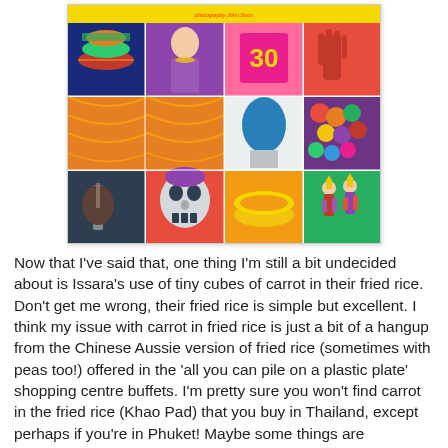[Figure (photo): A colorful book cover collage showing multiple images: stacked hats, a woman in Thai traditional dress, a jacket with number 30, a red hand, an orange draped fabric, a blue masked figure, colorful round sweets/balls, a person with a guitar, a decorative skull mask, a golden bowl, and Thai classical dancer figurines.]
Now that I've said that, one thing I'm still a bit undecided about is Issara's use of tiny cubes of carrot in their fried rice. Don't get me wrong, their fried rice is simple but excellent. I think my issue with carrot in fried rice is just a bit of a hangup from the Chinese Aussie version of fried rice (sometimes with peas too!) offered in the 'all you can pile on a plastic plate' shopping centre buffets. I'm pretty sure you won't find carrot in the fried rice (Khao Pad) that you buy in Thailand, except perhaps if you're in Phuket! Maybe some things are